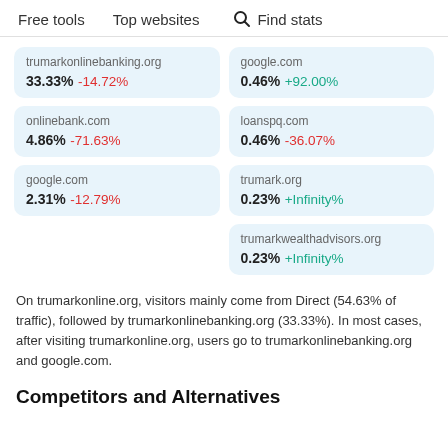Free tools   Top websites   Find stats
trumarkonlinebanking.org 33.33% -14.72%
google.com 0.46% +92.00%
onlinebank.com 4.86% -71.63%
loanspq.com 0.46% -36.07%
google.com 2.31% -12.79%
trumark.org 0.23% +Infinity%
trumarkwealthadvisors.org 0.23% +Infinity%
On trumarkonline.org, visitors mainly come from Direct (54.63% of traffic), followed by trumarkonlinebanking.org (33.33%). In most cases, after visiting trumarkonline.org, users go to trumarkonlinebanking.org and google.com.
Competitors and Alternatives